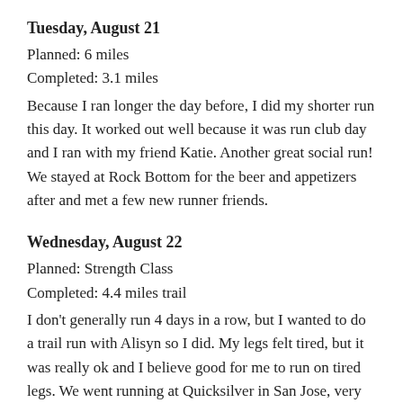Tuesday, August 21
Planned: 6 miles
Completed: 3.1 miles
Because I ran longer the day before, I did my shorter run this day. It worked out well because it was run club day and I ran with my friend Katie. Another great social run! We stayed at Rock Bottom for the beer and appetizers after and met a few new runner friends.
Wednesday, August 22
Planned: Strength Class
Completed: 4.4 miles trail
I don't generally run 4 days in a row, but I wanted to do a trail run with Alisyn so I did. My legs felt tired, but it was really ok and I believe good for me to run on tired legs. We went running at Quicksilver in San Jose, very hilly and great views at the top.
I finally decided I need new trail shoes after this run and